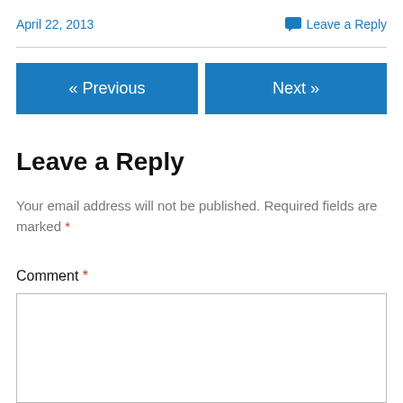April 22, 2013
Leave a Reply
« Previous
Next »
Leave a Reply
Your email address will not be published. Required fields are marked *
Comment *